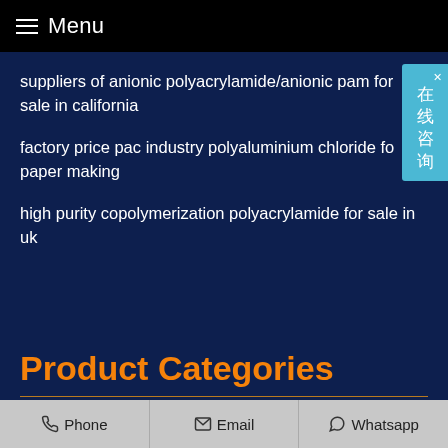Menu
suppliers of anionic polyacrylamide/anionic pam for sale in california
factory price pac industry polyaluminium chloride fo paper making
high purity copolymerization polyacrylamide for sale in uk
Product Categories
Chemical for Paper Making
Phone  Email  Whatsapp